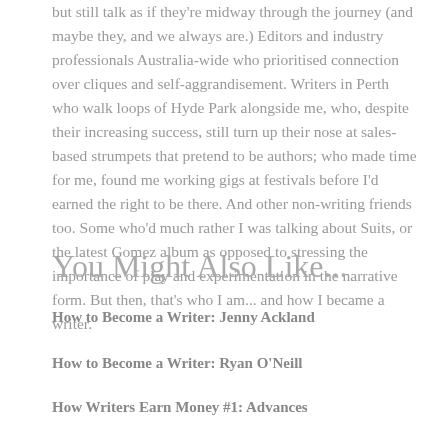but still talk as if they're midway through the journey (and maybe they, and we always are.) Editors and industry professionals Australia-wide who prioritised connection over cliques and self-aggrandisement. Writers in Perth who walk loops of Hyde Park alongside me, who, despite their increasing success, still turn up their nose at sales-based strumpets that pretend to be authors; who made time for me, found me working gigs at festivals before I'd earned the right to be there. And other non-writing friends too. Some who'd much rather I was talking about Suits, or the latest Gomez album as opposed to stressing the importance of play and experimentation in the narrative form. But then, that's who I am... and how I became a writer.
You Might Also Like...
How to Become a Writer: Jenny Ackland
How to Become a Writer: Ryan O'Neill
How Writers Earn Money #1: Advances